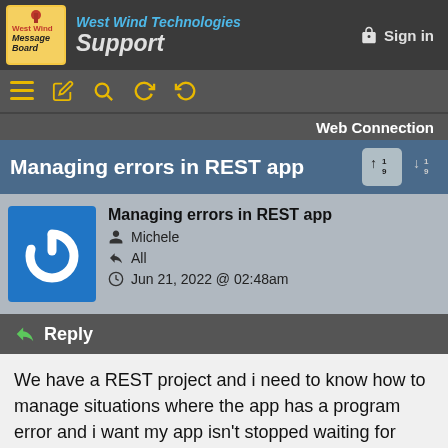West Wind Technologies Support
[Figure (logo): West Wind Message Board logo — yellow sticky note with text]
Sign in
[Figure (screenshot): Toolbar with hamburger menu, edit, search, refresh icons in yellow on dark background]
Web Connection
Managing errors in REST app
Managing errors in REST app
Michele
All
Jun 21, 2022 @ 02:48am
Reply
We have a REST project and i need to know how to manage situations where the app has a program error and i want my app isn't stopped waiting for